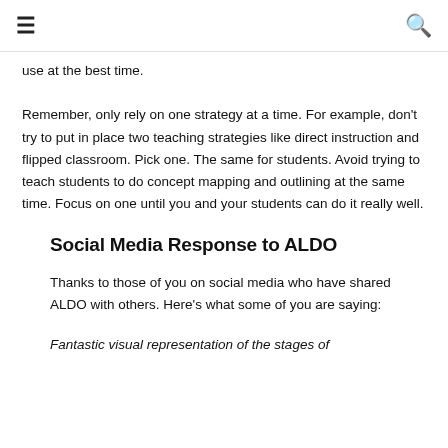≡  🔍
use at the best time.
Remember, only rely on one strategy at a time. For example, don't try to put in place two teaching strategies like direct instruction and flipped classroom. Pick one. The same for students. Avoid trying to teach students to do concept mapping and outlining at the same time. Focus on one until you and your students can do it really well.
Social Media Response to ALDO
Thanks to those of you on social media who have shared ALDO with others. Here's what some of you are saying:
Fantastic visual representation of the stages of